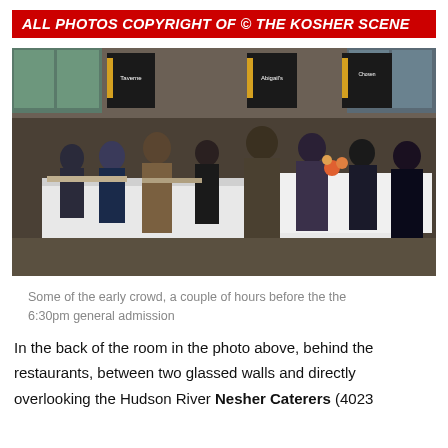ALL PHOTOS COPYRIGHT OF © THE KOSHER SCENE
[Figure (photo): Indoor food expo or tasting event showing a crowd of people standing around long tables covered with white tablecloths, with restaurant signage banners visible in the background including 'Taverne', 'Abigail's', and 'Chosen'. Guests are sampling food from buffet-style setups.]
Some of the early crowd, a couple of hours before the the 6:30pm general admission
In the back of the room in the photo above, behind the restaurants, between two glassed walls and directly overlooking the Hudson River Nesher Caterers (4023